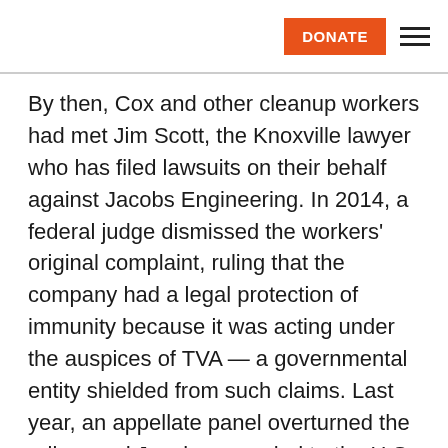DONATE ≡
By then, Cox and other cleanup workers had met Jim Scott, the Knoxville lawyer who has filed lawsuits on their behalf against Jacobs Engineering. In 2014, a federal judge dismissed the workers' original complaint, ruling that the company had a legal protection of immunity because it was acting under the auspices of TVA — a governmental entity shielded from such claims. Last year, an appellate panel overturned the ruling, and Jacobs appealed to the U.S. Supreme Court. In January, the justices declined to review the case, sending it back to federal